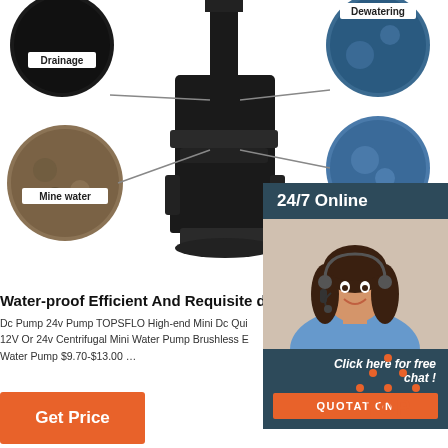[Figure (infographic): Product page screenshot showing water pump with circular application images (Drainage, Mine water, Dewatering), center pump photo, right-side chat widget, product title and description, Get Price button, and TOP logo.]
Water-proof Efficient And Requisite dc pump S
Dc Pump 24v Pump TOPSFLO High-end Mini Dc Qui 12V Or 24v Centrifugal Mini Water Pump Brushless E Water Pump $9.70-$13.00 …
Get Price
24/7 Online
Click here for free chat !
QUOTATION
[Figure (logo): TOP logo with orange dots forming a triangle above the word TOP in orange]